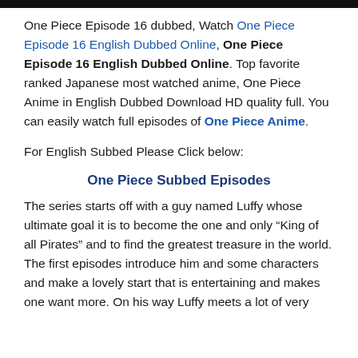[Figure (other): Black horizontal bar at top of page]
One Piece Episode 16 dubbed, Watch One Piece Episode 16 English Dubbed Online, One Piece Episode 16 English Dubbed Online. Top favorite ranked Japanese most watched anime, One Piece Anime in English Dubbed Download HD quality full. You can easily watch full episodes of One Piece Anime.
For English Subbed Please Click below:
One Piece Subbed Episodes
The series starts off with a guy named Luffy whose ultimate goal it is to become the one and only “King of all Pirates” and to find the greatest treasure in the world. The first episodes introduce him and some characters and make a lovely start that is entertaining and makes one want more. On his way Luffy meets a lot of very